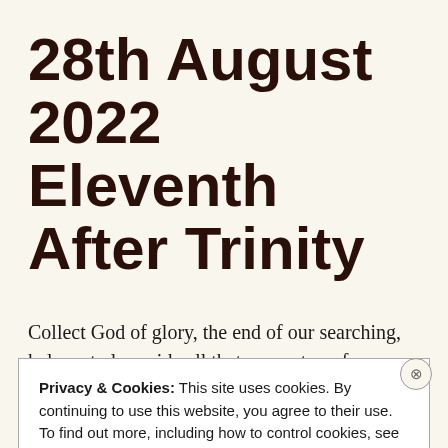28th August 2022 Eleventh After Trinity
Collect God of glory, the end of our searching, help us to lay aside all that prevents us from seeking
Privacy & Cookies: This site uses cookies. By continuing to use this website, you agree to their use. To find out more, including how to control cookies, see here: Cookie Policy
Close and accept